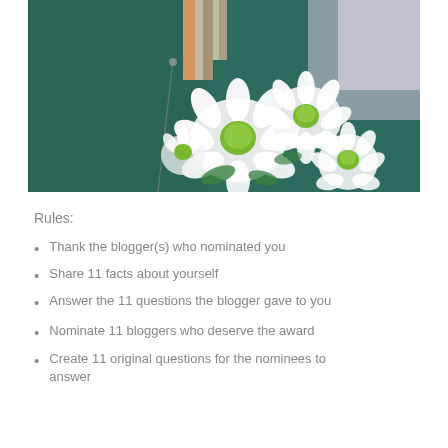[Figure (photo): A person wearing a dark teal/green leather jacket holding a bouquet of white daisy flowers with green centers. Colorful fabric visible in the background.]
Rules:
Thank the blogger(s) who nominated you
Share 11 facts about yourself
Answer the 11 questions the blogger gave to you
Nominate 11 bloggers who deserve the award
Create 11 original questions for the nominees to answer